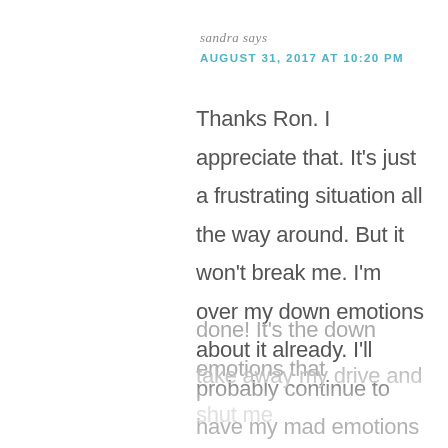sandra says
AUGUST 31, 2017 AT 10:20 PM
Thanks Ron. I appreciate that. It's just a frustrating situation all the way around. But it won't break me. I'm over my down emotions about it already. I'll probably continue to have my mad emotions about it when I start working on it again but anger sometimes fuels the workhorse in me– so I'll get a lot done! It's the down emotions that take away my drive and shut me